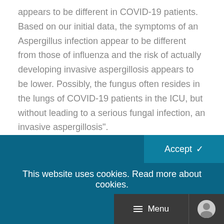appears to be different in COVID-19 patients. Based on our initial data, the symptoms of an Aspergillus infection appear to be different from those of influenza and the risk of actually developing invasive aspergillosis appears to be lower. Possibly, the fungus often resides in the lungs of COVID-19 patients in the ICU, but without leading to a serious fungal infection, an invasive aspergillosis".
Reliable test
This website uses cookies. Read more about cookies.